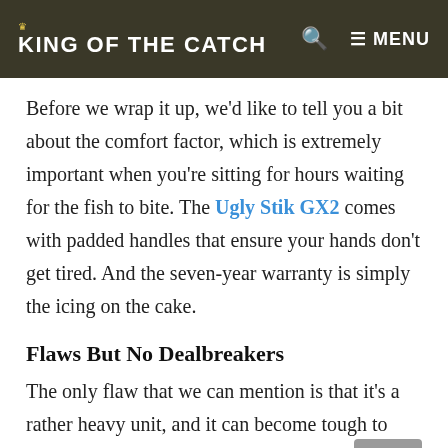KING OF THE CATCH
Before we wrap it up, we'd like to tell you a bit about the comfort factor, which is extremely important when you're sitting for hours waiting for the fish to bite. The Ugly Stik GX2 comes with padded handles that ensure your hands don't get tired. And the seven-year warranty is simply the icing on the cake.
Flaws But No Dealbreakers
The only flaw that we can mention is that it's a rather heavy unit, and it can become tough to walk topwater lures with it for long periods. That way,